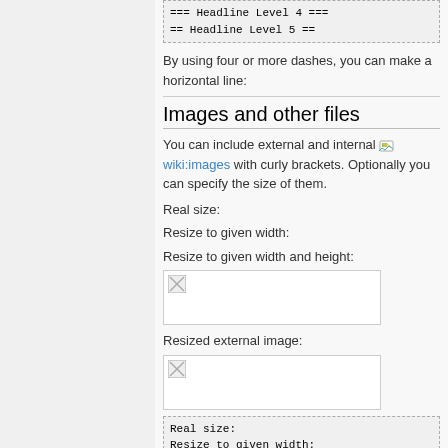=== Headline Level 4 ===
== Headline Level 5 ==
By using four or more dashes, you can make a horizontal line:
Images and other files
You can include external and internal wiki:images with curly brackets. Optionally you can specify the size of them.
Real size:
Resize to given width:
Resize to given width and height:
[Figure (illustration): Broken image placeholder for resized image]
Resized external image:
[Figure (illustration): Broken image placeholder for resized external image]
Real size:
Resize to given width: